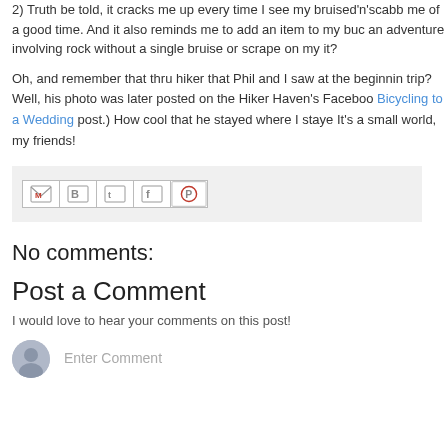2) Truth be told, it cracks me up every time I see my bruised'n'scabb me of a good time. And it also reminds me to add an item to my buc an adventure involving rock without a single bruise or scrape on my it?
Oh, and remember that thru hiker that Phil and I saw at the beginnin trip? Well, his photo was later posted on the Hiker Haven's Faceboo Bicycling to a Wedding post.) How cool that he stayed where I staye It's a small world, my friends!
[Figure (infographic): Social sharing buttons bar with icons for Gmail, Blogger, Twitter, Facebook, and Pinterest]
No comments:
Post a Comment
I would love to hear your comments on this post!
Enter Comment